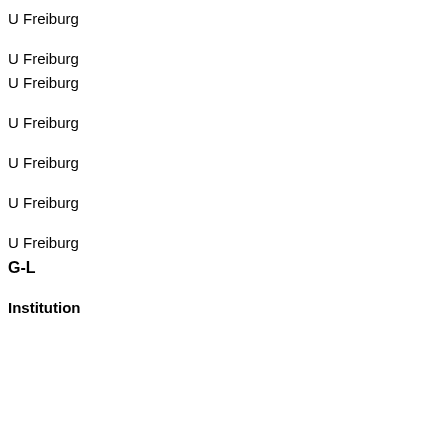U Freiburg
U Freiburg
U Freiburg
U Freiburg
U Freiburg
U Freiburg
U Freiburg
G-L
Institution